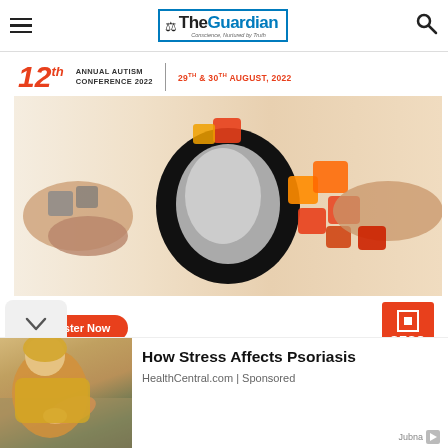The Guardian — Conscience, Nurtured by Truth
[Figure (infographic): 12th Annual Autism Conference 2022 advertisement banner. Shows a child's face through puzzle pieces being assembled by hands. Text reads: 12th Annual Autism Conference 2022, 29th & 30th August, 2022. Register Now button. GTCO sponsor logo.]
[Figure (photo): Woman in yellow sweater sitting on couch looking at her arm/skin, illustrating stress and psoriasis article thumbnail]
How Stress Affects Psoriasis
HealthCentral.com | Sponsored
Jubna